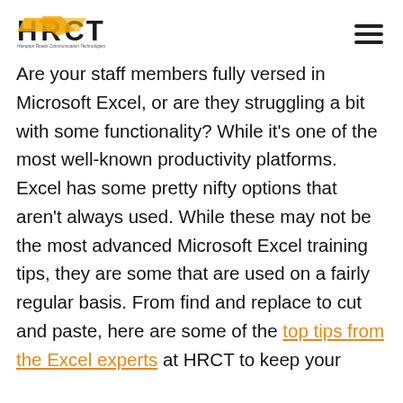HRCT — Hampton Roads Communication Technologies
Are your staff members fully versed in Microsoft Excel, or are they struggling a bit with some functionality? While it's one of the most well-known productivity platforms. Excel has some pretty nifty options that aren't always used. While these may not be the most advanced Microsoft Excel training tips, they are some that are used on a fairly regular basis. From find and replace to cut and paste, here are some of the top tips from the Excel experts at HRCT to keep your